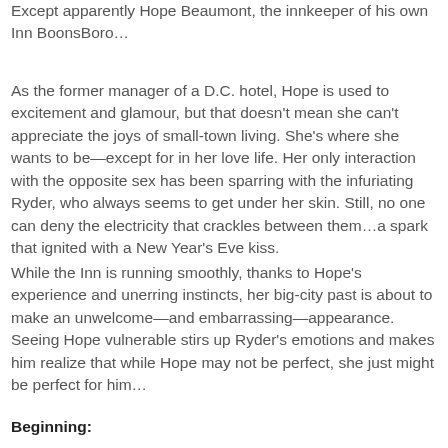Except apparently Hope Beaumont, the innkeeper of his own Inn BoonsBoro…
As the former manager of a D.C. hotel, Hope is used to excitement and glamour, but that doesn't mean she can't appreciate the joys of small-town living. She's where she wants to be—except for in her love life. Her only interaction with the opposite sex has been sparring with the infuriating Ryder, who always seems to get under her skin. Still, no one can deny the electricity that crackles between them…a spark that ignited with a New Year's Eve kiss.
While the Inn is running smoothly, thanks to Hope's experience and unerring instincts, her big-city past is about to make an unwelcome—and embarrassing—appearance. Seeing Hope vulnerable stirs up Ryder's emotions and makes him realize that while Hope may not be perfect, she just might be perfect for him…
Beginning: